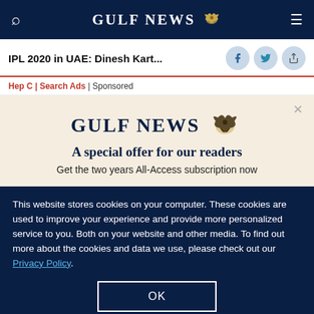GULF NEWS
IPL 2020 in UAE: Dinesh Kart...
Hep C | Search Ads | Sponsored
[Figure (infographic): Gulf News subscription offer modal with logo, headline 'A special offer for our readers', and subtext 'Get the two years All-Access subscription now']
This website stores cookies on your computer. These cookies are used to improve your experience and provide more personalized service to you. Both on your website and other media. To find out more about the cookies and data we use, please check out our Privacy Policy.